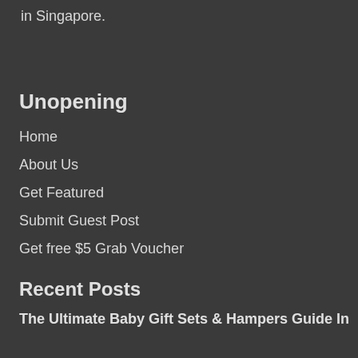in Singapore.
Unopening
Home
About Us
Get Featured
Submit Guest Post
Get free $5 Grab Voucher
Recent Posts
The Ultimate Baby Gift Sets & Hampers Guide In